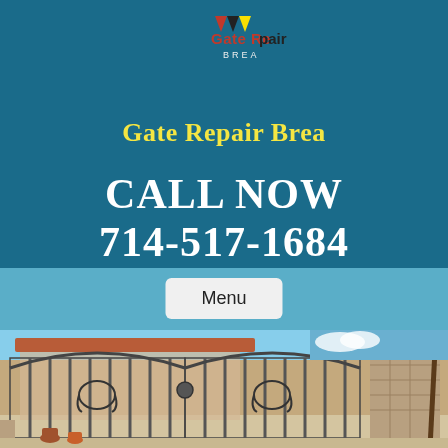[Figure (logo): Gate Repair Brea logo with scissors/tools icon]
Gate Repair Brea
CALL NOW
714-517-1684
Menu
[Figure (photo): Photo of ornamental wrought iron gate in front of a stone/brick house with palm trees]